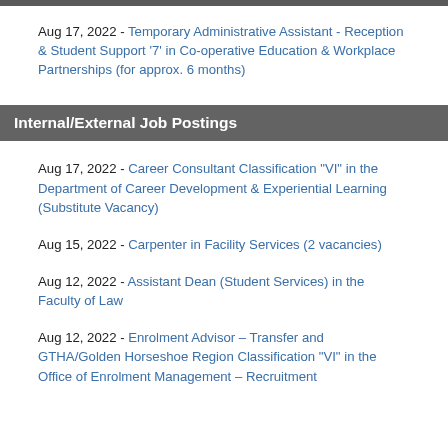Aug 17, 2022 - Temporary Administrative Assistant - Reception & Student Support '7' in Co-operative Education & Workplace Partnerships (for approx. 6 months)
Internal/External Job Postings
Aug 17, 2022 - Career Consultant Classification "VI" in the Department of Career Development & Experiential Learning (Substitute Vacancy)
Aug 15, 2022 - Carpenter in Facility Services (2 vacancies)
Aug 12, 2022 - Assistant Dean (Student Services) in the Faculty of Law
Aug 12, 2022 - Enrolment Advisor – Transfer and GTHA/Golden Horseshoe Region Classification "VI" in the Office of Enrolment Management – Recruitment